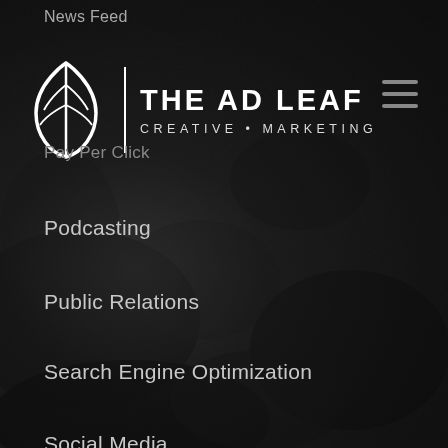News Feed
[Figure (logo): The Ad Leaf Creative Marketing logo — leaf icon with vertical divider and text]
Pay Per Click
Podcasting
Public Relations
Search Engine Optimization
Social Media
Team
Uncategorized